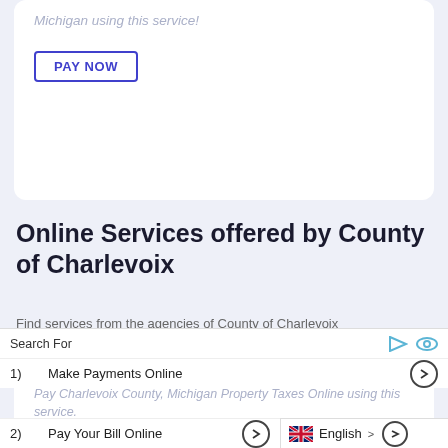Michigan using this service!
PAY NOW
Online Services offered by County of Charlevoix
Find services from the agencies of County of Charlevoix
Pay Property Taxes
Pay Charlevoix County, Michigan Property Taxes Online using this service.
Search For
1)   Make Payments Online
2)   Pay Your Bill Online
English